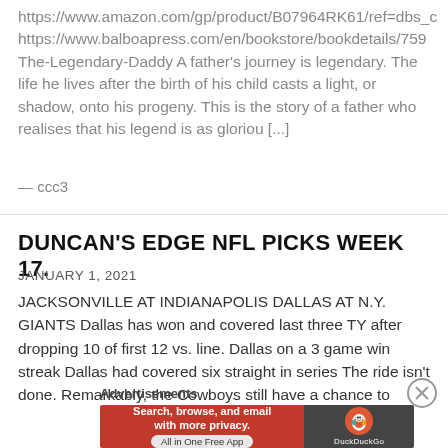https://www.amazon.com/gp/product/B07964RK61/ref=dbs_c
https://www.balboapress.com/en/bookstore/bookdetails/759
The-Legendary-Daddy A father's journey is legendary. The life he lives after the birth of his child casts a light, or shadow, onto his progeny. This is the story of a father who realises that his legend is as gloriou [...]
— ccc3
DUNCAN'S EDGE NFL PICKS WEEK 17.
JANUARY 1, 2021
JACKSONVILLE AT INDIANAPOLIS DALLAS AT N.Y. GIANTS Dallas has won and covered last three TY after dropping 10 of first 12 vs. line. Dallas on a 3 game win streak Dallas had covered six straight in series The ride isn't done. Remarkably, the Cowboys still have a chance to
Advertisements
[Figure (infographic): DuckDuckGo advertisement banner: red section on left reads 'Search, browse, and email with more privacy. All in One Free App', dark grey section on right shows DuckDuckGo logo and name.]